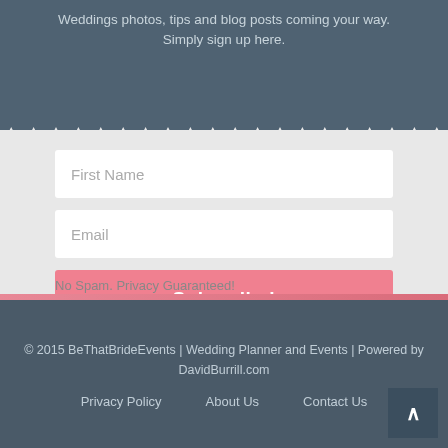Weddings photos, tips and blog posts coming your way. Simply sign up here.
[Figure (screenshot): Email subscription form with First Name field, Email field, and Subscribe! button on a light gray background with zigzag top border]
No Spam. Privacy Guaranteed!
© 2015 BeThatBrideEvents | Wedding Planner and Events | Powered by DavidBurrill.com
Privacy Policy   About Us   Contact Us